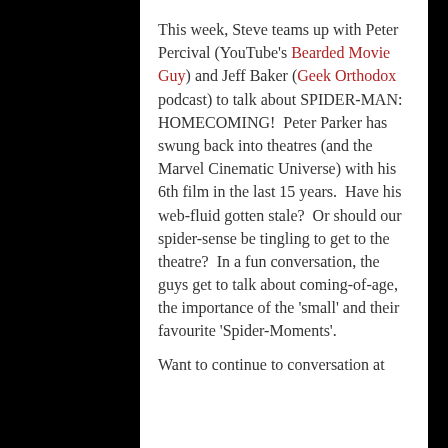This week, Steve teams up with Peter Percival (YouTube's Bearded Movie Guy) and Jeff Baker (Geek Orthodox podcast) to talk about SPIDER-MAN: HOMECOMING!  Peter Parker has swung back into theatres (and the Marvel Cinematic Universe) with his 6th film in the last 15 years.  Have his web-fluid gotten stale?  Or should our spider-sense be tingling to get to the theatre?  In a fun conversation, the guys get to talk about coming-of-age, the importance of the 'small' and their favourite 'Spider-Moments'.
Want to continue to conversation at